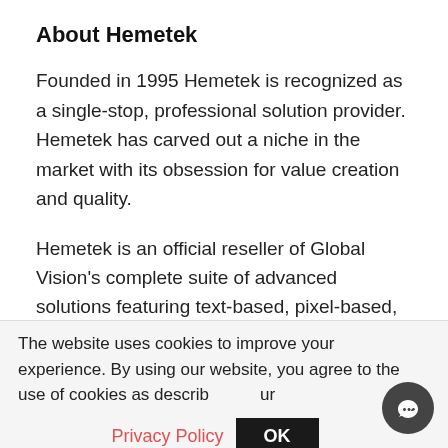About Hemetek
Founded in 1995 Hemetek is recognized as a single-stop, professional solution provider. Hemetek has carved out a niche in the market with its obsession for value creation and quality.
Hemetek is an official reseller of Global Vision’s complete suite of advanced solutions featuring text-based, pixel-based,
The website uses cookies to improve your experience. By using our website, you agree to the use of cookies as described in our
Privacy Policy  OK